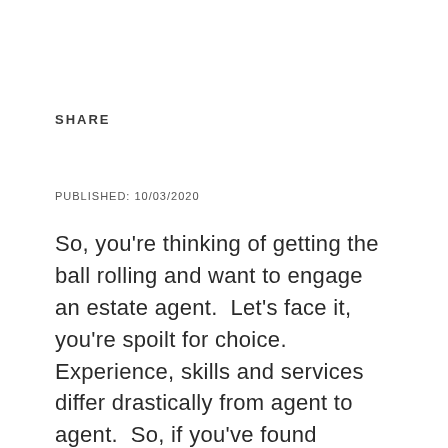SHARE
PUBLISHED: 10/03/2020
So, you're thinking of getting the ball rolling and want to engage an estate agent. Let's face it, you're spoilt for choice. Experience, skills and services differ drastically from agent to agent. So, if you've found yourself drowning in information, don't fret. We're here to help you take a deep breath. Let's start by